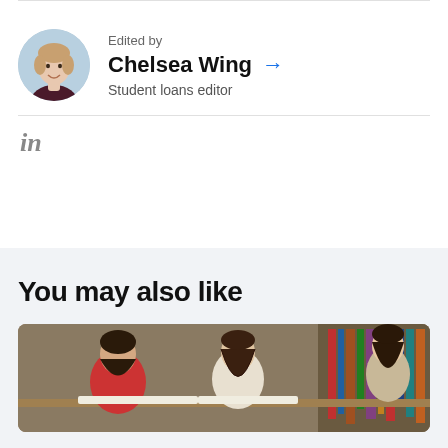Edited by
Chelsea Wing → Student loans editor
[Figure (illustration): LinkedIn logo icon in gray]
You may also like
[Figure (photo): Students studying together in a library, bending over books]